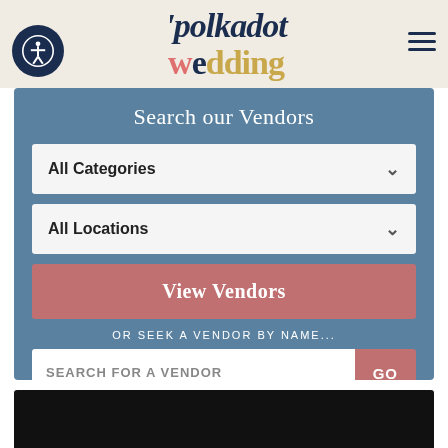polkadot wedding
Search our Vendors
All Categories
All Locations
View Vendors
OR SEEK A VENDOR BY NAME...
SEARCH FOR A VENDOR
GO
[Figure (photo): Bottom preview strip showing a dark/black image area, partially visible at the bottom of the page]